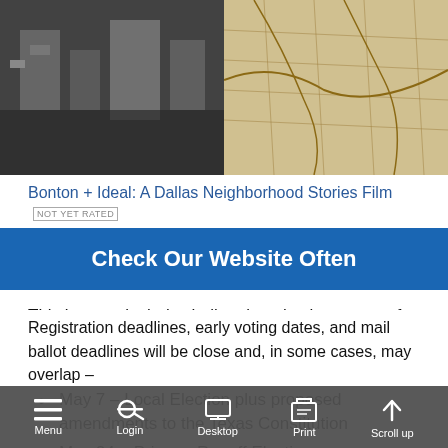[Figure (photo): Split image: left shows a black and white aerial photo of a city (Dallas), right shows a vintage hand-drawn map]
Bonton + Ideal: A Dallas Neighborhood Stories Film  NOT YET RATED
Check Our Website Often
This is a particularly challenging election season for Texas voters. Over the next couple of months, we will have as many as three elections in our area:
May 7 – Local Election plus proposed amendments to the Texas Constitution
May 24 – Primary Runoff Election
June 18 – Local Runoff Election (if needed)
Registration deadlines, early voting dates, and mail ballot deadlines will be close and, in some cases, may overlap –